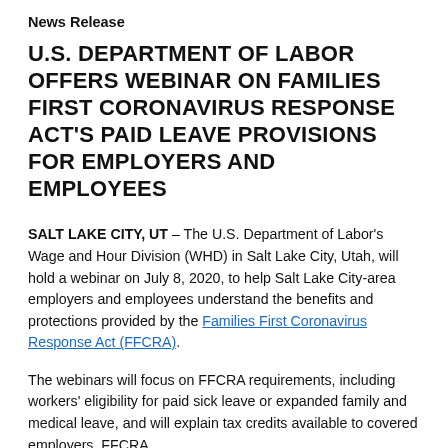News Release
U.S. DEPARTMENT OF LABOR OFFERS WEBINAR ON FAMILIES FIRST CORONAVIRUS RESPONSE ACT'S PAID LEAVE PROVISIONS FOR EMPLOYERS AND EMPLOYEES
SALT LAKE CITY, UT – The U.S. Department of Labor's Wage and Hour Division (WHD) in Salt Lake City, Utah, will hold a webinar on July 8, 2020, to help Salt Lake City-area employers and employees understand the benefits and protections provided by the Families First Coronavirus Response Act (FFCRA).
The webinars will focus on FFCRA requirements, including workers' eligibility for paid sick leave or expanded family and medical leave, and will explain tax credits available to covered employers. FFCRA